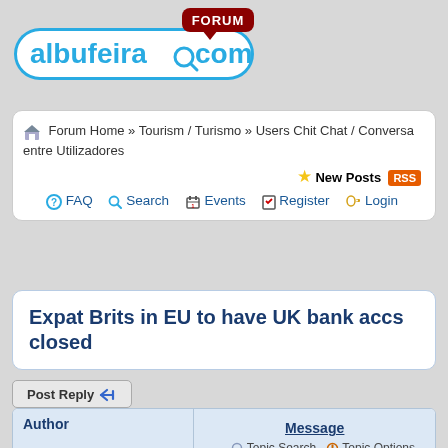[Figure (logo): albufeira.com forum logo with blue rounded pill shape and red 'FORUM' speech bubble badge]
Forum Home » Tourism / Turismo » Users Chit Chat / Conversa entre Utilizadores
New Posts RSS
FAQ  Search  Events  Register  Login
Expat Brits in EU to have UK bank accs closed
Post Reply
| Author | Message |
| --- | --- |
| Jock ▾
Top Contributors
★★★★☆ | Topic Search  Topic Options
Post Options  Thanks(0)  Quote
Reply
Topic: Expat Brits in EU to have UK bank accs closed |